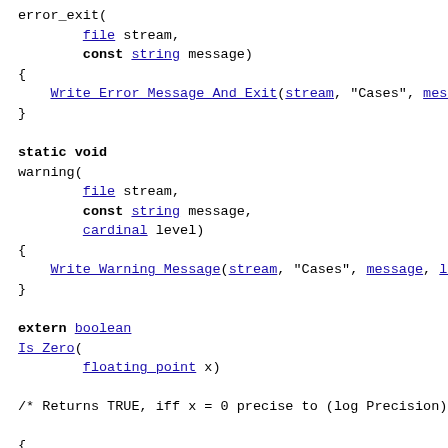error_exit(
        file stream,
        const string message)
{
    Write Error Message And Exit(stream, "Cases", message
}

static void
warning(
        file stream,
        const string message,
        cardinal level)
{
    Write Warning Message(stream, "Cases", message, level
}

extern boolean
Is Zero(
        floating_point x)

/* Returns TRUE, iff x = 0 precise to (log Precision) dec

{
    return floor((double) x * Precision + 0.5) == 0.0;
}

extern boolean
Is Equal(
        floating_point x,
        floating_point y,
        floating_point precision)